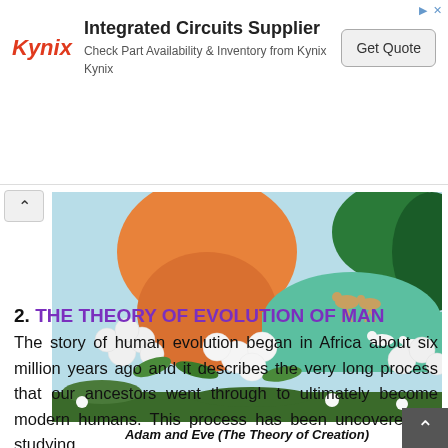[Figure (other): Kynix integrated circuits supplier advertisement banner with logo, text, and Get Quote button]
[Figure (illustration): Painting depicting Adam and Eve in the Garden of Eden — a figure with orange/warm tones surrounded by white flowers, with deer and swans near a green lake in the background]
Adam and Eve (The Theory of Creation)
2. THE THEORY OF EVOLUTION OF MAN
The story of human evolution began in Africa about six million years ago and it describes the very long process that our ancestors went through to ultimately become modern humans. This process has been uncovered by studying